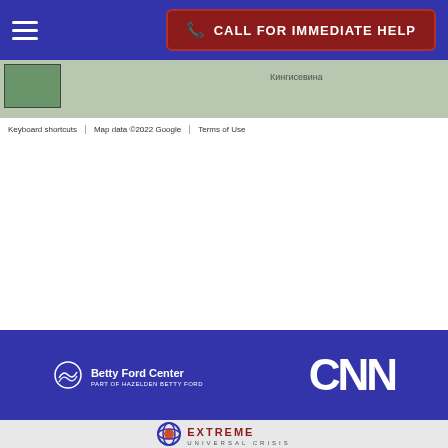CALL FOR IMMEDIATE HELP
[Figure (screenshot): Google Maps strip showing map area with Keyboard shortcuts, Map data ©2022 Google, Terms of Use labels]
[Figure (logo): Betty Ford Center logo — white text with wave/leaf icon on blue background]
[Figure (logo): CNN logo in white bold letters on blue background]
[Figure (logo): Extreme Universal Crisis logo — globe icon with dark red text on light gray background]